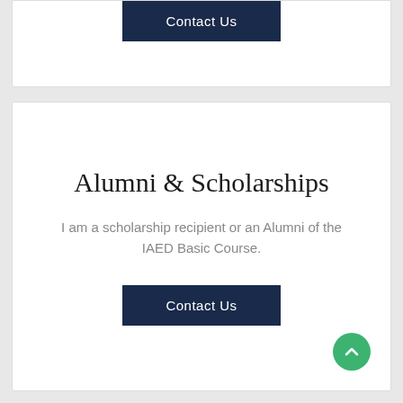Contact Us
Alumni & Scholarships
I am a scholarship recipient or an Alumni of the IAED Basic Course.
Contact Us